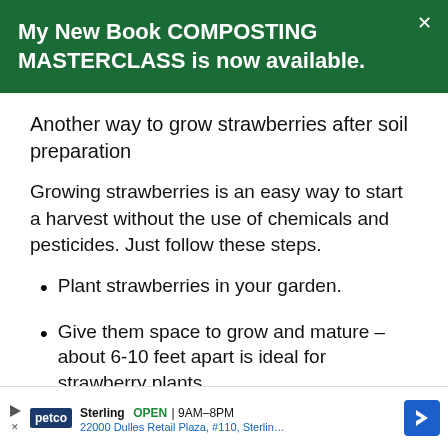My New Book COMPOSTING MASTERCLASS is now available.
Another way to grow strawberries after soil preparation
Growing strawberries is an easy way to start a harvest without the use of chemicals and pesticides. Just follow these steps.
Plant strawberries in your garden.
Give them space to grow and mature – about 6-10 feet apart is ideal for strawberry plants.
[Figure (infographic): Petco advertisement banner showing store location in Sterling, open 9AM-8PM, at 22000 Dulles Retail Plaza, #110, Sterling]